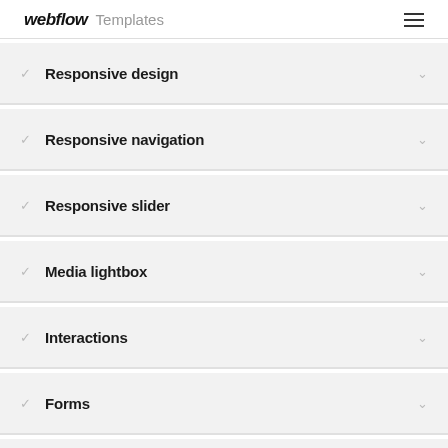webflow Templates
Responsive design
Responsive navigation
Responsive slider
Media lightbox
Interactions
Forms